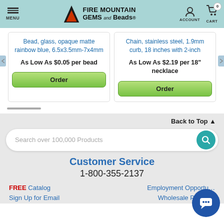MENU | FIRE MOUNTAIN GEMS and Beads | ACCOUNT | CART 0
Bead, glass, opaque matte rainbow blue, 6.5x3.5mm-7x4mm
As Low As $0.05 per bead
Order
Chain, stainless steel, 1.9mm curb, 18 inches with 2-inch
As Low As $2.19 per 18" necklace
Order
Back to Top ▲
Search over 100,000 Products
Customer Service
1-800-355-2137
FREE Catalog
Employment Opportunities
Sign Up for Email
Wholesale Program